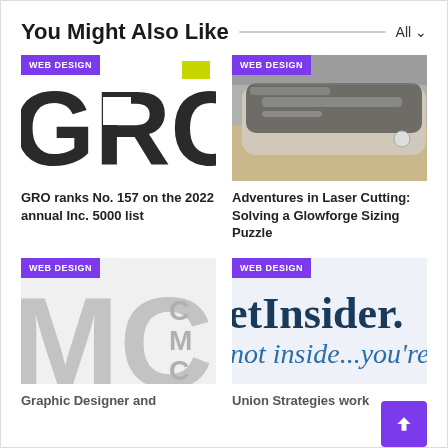You Might Also Like
[Figure (illustration): GRO logo with large dark letters on white background, yellow-green rectangle in top right corner, WEB DESIGN tag overlay]
GRO ranks No. 157 on the 2022 annual Inc. 5000 list
[Figure (photo): Glowforge laser cutter on a desk, top view showing the glass lid and machine body, WEB DESIGN tag overlay]
Adventures in Laser Cutting: Solving a Glowforge Sizing Puzzle
[Figure (illustration): CMC logo with large grey letters on light background, WEB DESIGN tag overlay]
Graphic Designer and
[Figure (illustration): MarketInsider styled text reading 'etInsider. not inside...you're' on white background, WEB DESIGN tag overlay]
Union Strategies work